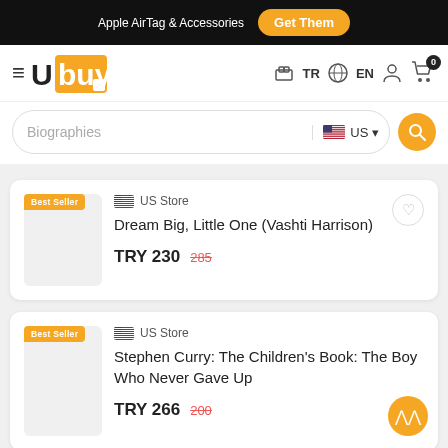Apple AirTag & Accessories  Get Them
Ubuy TR EN  0
Biographies  US
Best Seller  US Store  Dream Big, Little One (Vashti Harrison)  TRY 230  285
Best Seller  US Store  Stephen Curry: The Children's Book: The Boy Who Never Gave Up  TRY 266  200